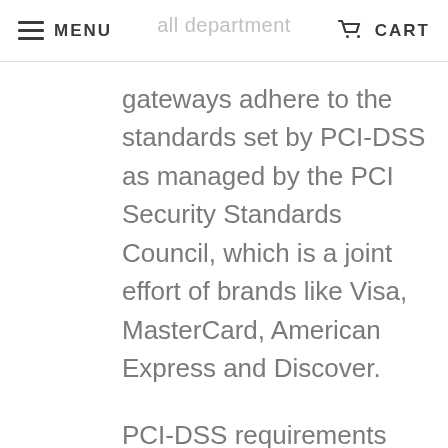MENU | [page title faded] | CART
gateways adhere to the standards set by PCI-DSS as managed by the PCI Security Standards Council, which is a joint effort of brands like Visa, MasterCard, American Express and Discover.
PCI-DSS requirements help ensure the secure handling of credit card information by our store and its